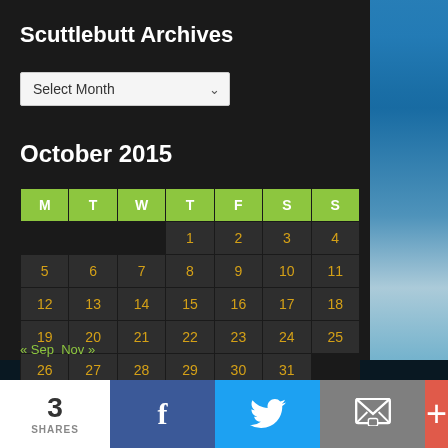Scuttlebutt Archives
Select Month
October 2015
| M | T | W | T | F | S | S |
| --- | --- | --- | --- | --- | --- | --- |
|  |  |  | 1 | 2 | 3 | 4 |
| 5 | 6 | 7 | 8 | 9 | 10 | 11 |
| 12 | 13 | 14 | 15 | 16 | 17 | 18 |
| 19 | 20 | 21 | 22 | 23 | 24 | 25 |
| 26 | 27 | 28 | 29 | 30 | 31 |  |
« Sep  Nov »